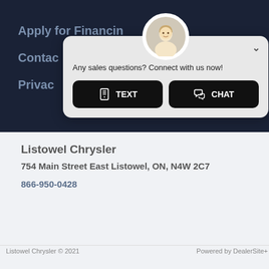Apply for Financing
Contact
Privacy
[Figure (screenshot): Chat popup widget with avatar photo of blonde woman, chevron dismiss button, text 'Any sales questions? Connect with us now!' and two black buttons: TEXT and CHAT]
Listowel Chrysler
754 Main Street East Listowel, ON, N4W 2C7
866-950-0428
Listowel Chrysler © 2021    Powered by DealerSite+